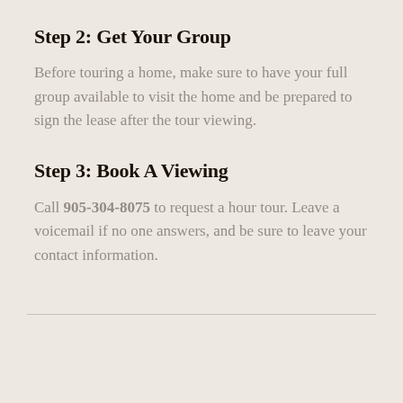Step 2: Get Your Group
Before touring a home, make sure to have your full group available to visit the home and be prepared to sign the lease after the tour viewing.
Step 3: Book A Viewing
Call 905-304-8075 to request a hour tour. Leave a voicemail if no one answers, and be sure to leave your contact information.